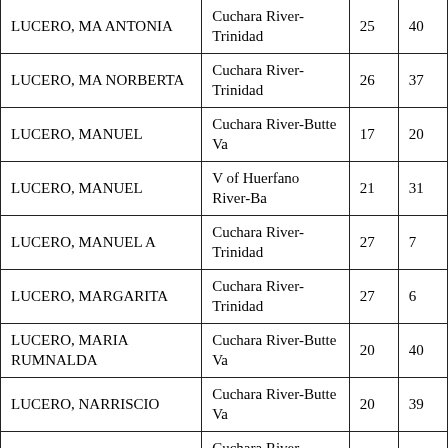| LUCERO, MA ANTONIA | Cuchara River-Trinidad | 25 | 40 |
| LUCERO, MA NORBERTA | Cuchara River-Trinidad | 26 | 37 |
| LUCERO, MANUEL | Cuchara River-Butte Va | 17 | 20 |
| LUCERO, MANUEL | V of Huerfano River-Ba | 21 | 31 |
| LUCERO, MANUEL A | Cuchara River-Trinidad | 27 | 7 |
| LUCERO, MARGARITA | Cuchara River-Trinidad | 27 | 6 |
| LUCERO, MARIA RUMNALDA | Cuchara River-Butte Va | 20 | 40 |
| LUCERO, NARRISCIO | Cuchara River-Butte Va | 20 | 39 |
| LUCERO, VICTOR | Cuchara River-Trinidad | 27 | 9 |
| LUCERO, VICTOR M | Cuchara River-Butte Va | 16 | 32 |